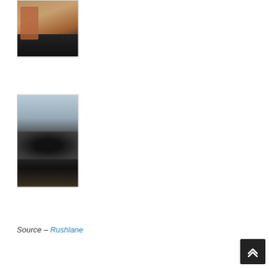[Figure (photo): Photo of children posing next to a dark Batmobile car, outdoor daytime setting with warm tones]
[Figure (photo): Close-up photo of a Batmobile (Tumbler) replica parked on a street with buildings in background]
Source – Rushlane